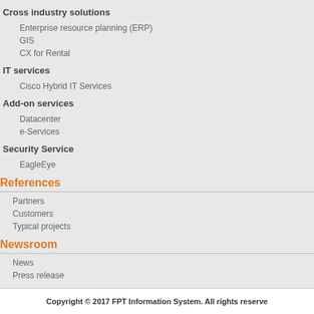Cross industry solutions
Enterprise resource planning (ERP)
GIS
CX for Rental
IT services
Cisco Hybrid IT Services
Add-on services
Datacenter
e-Services
Security Service
EagleEye
References
Partners
Customers
Typical projects
Newsroom
News
Press release
Copyright © 2017 FPT Information System. All rights reserved